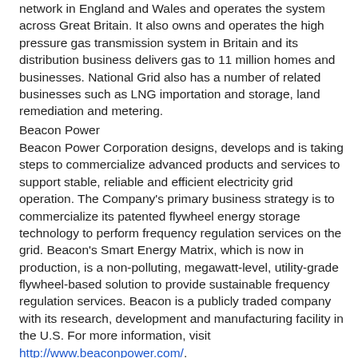National Grid owns the high voltage electricity transmission network in England and Wales and operates the system across Great Britain. It also owns and operates the high pressure gas transmission system in Britain and its distribution business delivers gas to 11 million homes and businesses. National Grid also has a number of related businesses such as LNG importation and storage, land remediation and metering.
Beacon Power
Beacon Power Corporation designs, develops and is taking steps to commercialize advanced products and services to support stable, reliable and efficient electricity grid operation. The Company's primary business strategy is to commercialize its patented flywheel energy storage technology to perform frequency regulation services on the grid. Beacon's Smart Energy Matrix, which is now in production, is a non-polluting, megawatt-level, utility-grade flywheel-based solution to provide sustainable frequency regulation services. Beacon is a publicly traded company with its research, development and manufacturing facility in the U.S. For more information, visit http://www.beaconpower.com/.
Safe Harbor Statements under the Private Securities